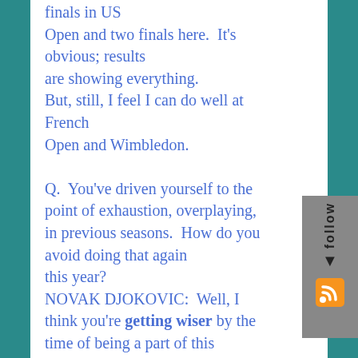finals in US Open and two finals here.  It's obvious; results are showing everything. But, still, I feel I can do well at French Open and Wimbledon.

Q.  You've driven yourself to the point of exhaustion, overplaying, in previous seasons.  How do you avoid doing that again this year?
NOVAK DJOKOVIC:  Well, I think you're getting wiser by the time of being a part of this sport.  You are more aware of the things that you should do and not do.  I was spending too much
[Figure (other): Website sidebar widget with 'follow' text and RSS feed icon on grey background]